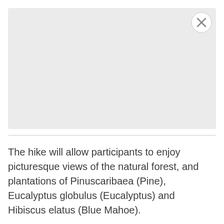[Figure (other): Large light grey rectangular image placeholder with a circular close (X) button in the top-right corner]
The hike will allow participants to enjoy picturesque views of the natural forest, and plantations of Pinuscaribaea (Pine), Eucalyptus globulus (Eucalyptus) and Hibiscus elatus (Blue Mahoe).